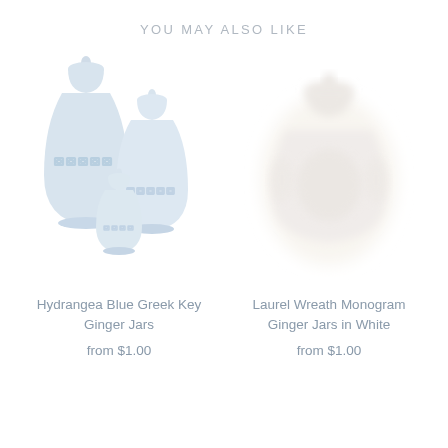YOU MAY ALSO LIKE
[Figure (illustration): Three light blue ceramic ginger jars with Greek Key pattern, grouped together in varying sizes]
Hydrangea Blue Greek Key Ginger Jars
from $1.00
[Figure (photo): White ceramic ginger jar with laurel wreath monogram, blurred/soft-focus photo]
Laurel Wreath Monogram Ginger Jars in White
from $1.00